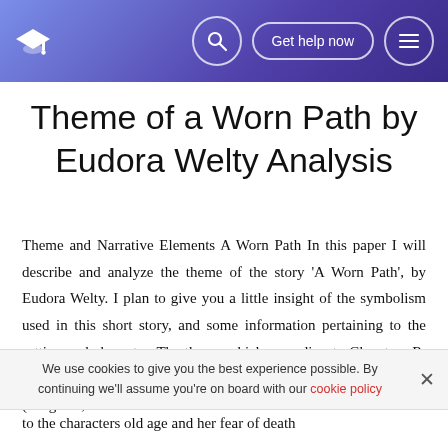Get help now
Theme of a Worn Path by Eudora Welty Analysis
Theme and Narrative Elements A Worn Path In this paper I will describe and analyze the theme of the story 'A Worn Path', by Eudora Welty. I plan to give you a little insight of the symbolism used in this short story, and some information pertaining to the setting and character. The theme which according to Clugston, R. W. is associated with an idea that lies behind a literary work (Clugston, R. W.
We use cookies to give you the best experience possible. By continuing we'll assume you're on board with our cookie policy
to the characters old age and her tear of death